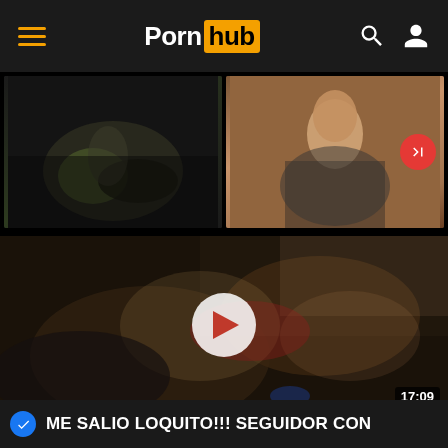Pornhub
[Figure (screenshot): Two video thumbnails side by side: left shows a blurred figure with green clothing, right shows a woman against a floral wallpaper background with a red forward-skip button]
[Figure (screenshot): Main video thumbnail with play button overlay showing blurred adult content scene with duration badge 17:09]
ME SALIO LOQUITO!!! SEGUIDOR CON